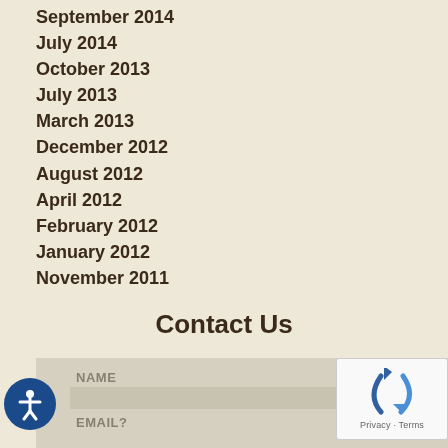September 2014
July 2014
October 2013
July 2013
March 2013
December 2012
August 2012
April 2012
February 2012
January 2012
November 2011
Contact Us
NAME
EMAIL?